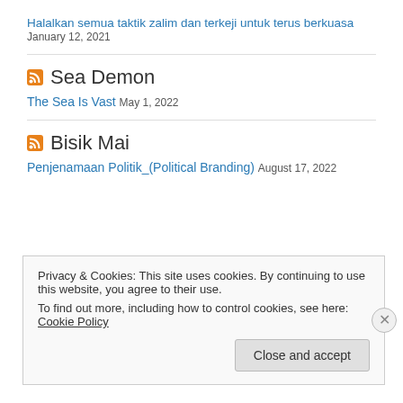Halalkan semua taktik zalim dan terkeji untuk terus berkuasa January 12, 2021
Sea Demon
The Sea Is Vast May 1, 2022
Bisik Mai
Penjenamaan Politik_(Political Branding) August 17, 2022
Privacy & Cookies: This site uses cookies. By continuing to use this website, you agree to their use.
To find out more, including how to control cookies, see here: Cookie Policy